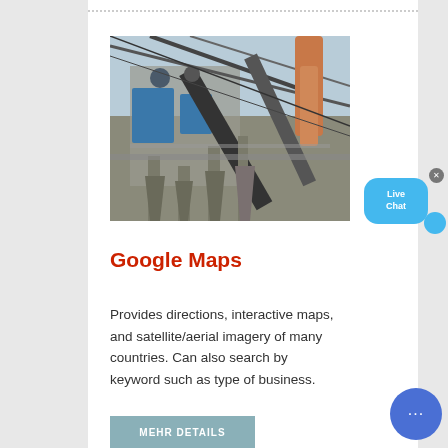[Figure (photo): Industrial machinery/conveyor system at a quarry or mining facility with blue equipment and conveyor belts against a sky background]
Google Maps
Provides directions, interactive maps, and satellite/aerial imagery of many countries. Can also search by keyword such as type of business.
MEHR DETAILS